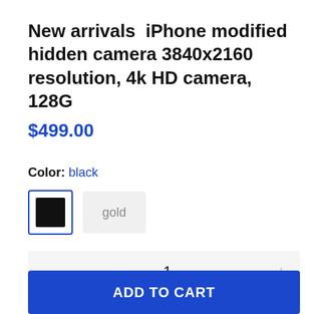New arrivals  iPhone modified hidden camera 3840x2160 resolution, 4k HD camera, 128G
$499.00
Color: black
[Figure (other): Color swatches: black selected (blue border), gold option]
1
ADD TO CART